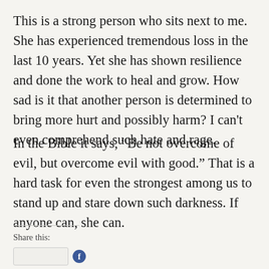This is a strong person who sits next to me. She has experienced tremendous loss in the last 10 years. Yet she has shown resilience and done the work to heal and grow. How sad is it that another person is determined to bring more hurt and possibly harm? I can’t even comprehend such hate and rage.
In the Bible it says, “Be not overcome of evil, but overcome evil with good.” That is a hard task for even the strongest among us to stand up and stare down such darkness. If anyone can, she can.
Share this: